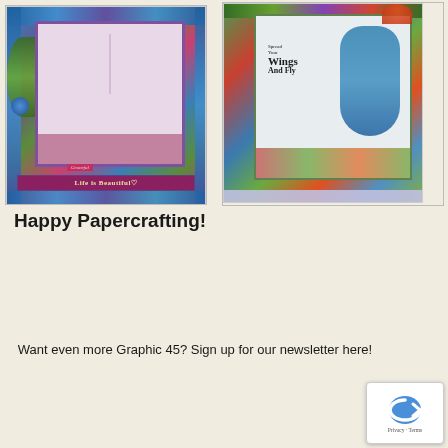[Figure (photo): Decorative papercrafting card with blue patterned ornate frame and leaf embellishments. Card features a woman figure and text reading 'Graceful' and 'Life is Beautiful']
[Figure (photo): Decorative papercrafting card with floral elements and text reading 'Spread Your Wings And Fly' with a woman in a teal blue dress]
Happy Papercrafting!
Want even more Graphic 45? Sign up for our newsletter here!